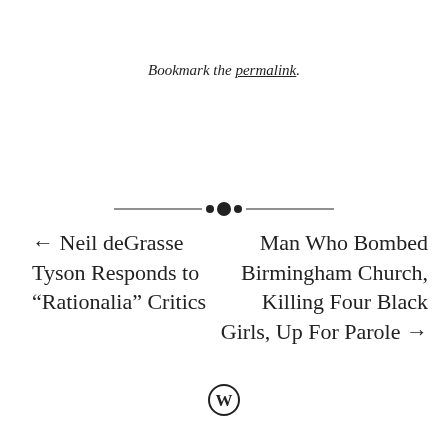Bookmark the permalink.
[Figure (illustration): Decorative horizontal divider with a small diamond/floral ornament in the center, flanked by thin lines on each side.]
← Neil deGrasse Tyson Responds to “Rationalia” Critics
Man Who Bombed Birmingham Church, Killing Four Black Girls, Up For Parole →
[Figure (logo): WordPress logo - circular W mark]